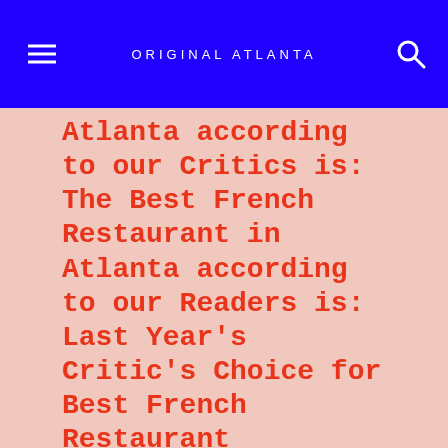ORIGINAL ATLANTA
Atlanta according to our Critics is:
The Best French Restaurant in Atlanta according to our Readers is:
Last Year's Critic's Choice for Best French Restaurant
French Dishes from our 100 Dishes List
CL Recommends:
French Restaurants
Where to Eat Indian Food in Atlanta
Other Indian Restaurants